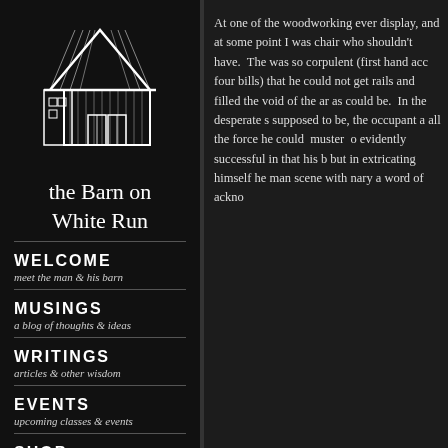[Figure (logo): White line drawing of a barn on black background]
the Barn on White Run
WELCOME
meet the man & his barn
MUSINGS
a blog of thoughts & ideas
WRITINGS
articles & other wisdom
EVENTS
upcoming classes & events
SHOP
DVDs, tools & finishing supplies
At one of the woodworking ever display, and at some point I was chair who shouldn't have.  The was so corpulent (first hand acc four bills) that he could not get rails and filled the void of the ar as could be.  In the desperate s supposed to be, the occupant a all the force he could  muster  o evidently successful in that his b but in extricating himself he man scene with nary a word of ackno